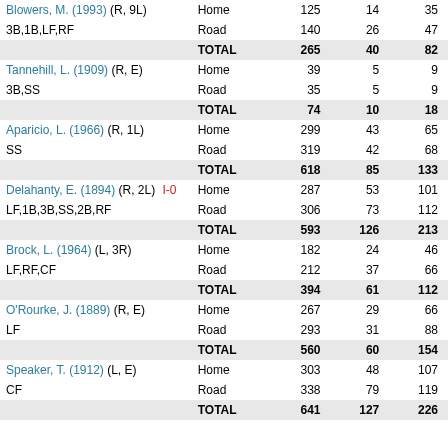| Player | Location | Col1 | Col2 | Col3 |
| --- | --- | --- | --- | --- |
| Blowers, M. (1993) (R, 9L) | Home | 125 | 14 | 35 |
| 3B,1B,LF,RF | Road | 140 | 26 | 47 |
|  | TOTAL | 265 | 40 | 82 |
| Tannehill, L. (1909) (R, E) | Home | 39 | 5 | 9 |
| 3B,SS | Road | 35 | 5 | 9 |
|  | TOTAL | 74 | 10 | 18 |
| Aparicio, L. (1966) (R, 1L) | Home | 299 | 43 | 65 |
| SS | Road | 319 | 42 | 68 |
|  | TOTAL | 618 | 85 | 133 |
| Delahanty, E. (1894) (R, 2L) I-0 | Home | 287 | 53 | 101 |
| LF,1B,3B,SS,2B,RF | Road | 306 | 73 | 112 |
|  | TOTAL | 593 | 126 | 213 |
| Brock, L. (1964) (L, 3R) | Home | 182 | 24 | 46 |
| LF,RF,CF | Road | 212 | 37 | 66 |
|  | TOTAL | 394 | 61 | 112 |
| O'Rourke, J. (1889) (R, E) | Home | 267 | 29 | 66 |
| LF | Road | 293 | 31 | 88 |
|  | TOTAL | 560 | 60 | 154 |
| Speaker, T. (1912) (L, E) | Home | 303 | 48 | 107 |
| CF | Road | 338 | 79 | 119 |
|  | TOTAL | 641 | 127 | 226 |